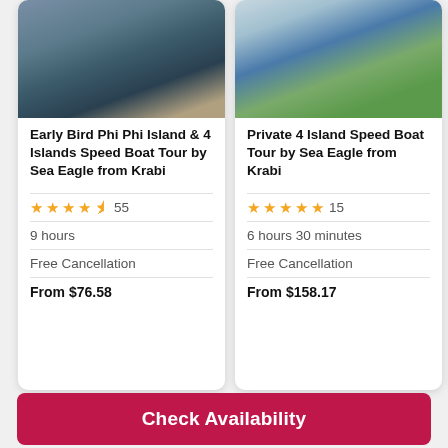[Figure (photo): Speedboat on water near rocky cliffs with people onboard]
Early Bird Phi Phi Island & 4 Islands Speed Boat Tour by Sea Eagle from Krabi
4.5 stars, 55 reviews
9 hours
Free Cancellation
From $76.58
[Figure (photo): White and blue speedboat on clear water near tropical foliage]
Private 4 Island Speed Boat Tour by Sea Eagle from Krabi
5 stars, 15 reviews
6 hours 30 minutes
Free Cancellation
From $158.17
[Figure (photo): Turquoise water, partially visible third card]
Phi P... Boat... from...
7 ho...
Free...
From...
Check Availability